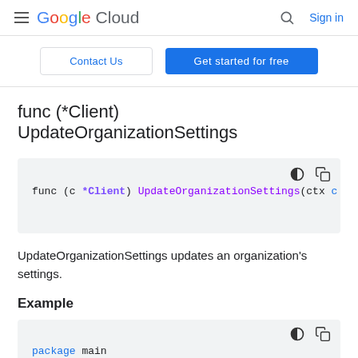Google Cloud — Sign in
Contact Us | Get started for free
func (*Client) UpdateOrganizationSettings
[Figure (screenshot): Code block showing: func (c *Client) UpdateOrganizationSettings(ctx c]
UpdateOrganizationSettings updates an organization's settings.
Example
[Figure (screenshot): Code block showing: package main]